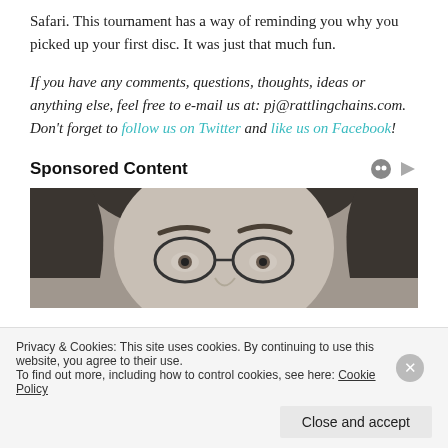Safari. This tournament has a way of reminding you why you picked up your first disc. It was just that much fun.
If you have any comments, questions, thoughts, ideas or anything else, feel free to e-mail us at: pj@rattlingchains.com. Don't forget to follow us on Twitter and like us on Facebook!
Sponsored Content
[Figure (photo): Black and white close-up photograph of a person's eyes and forehead, wearing round glasses.]
Privacy & Cookies: This site uses cookies. By continuing to use this website, you agree to their use. To find out more, including how to control cookies, see here: Cookie Policy